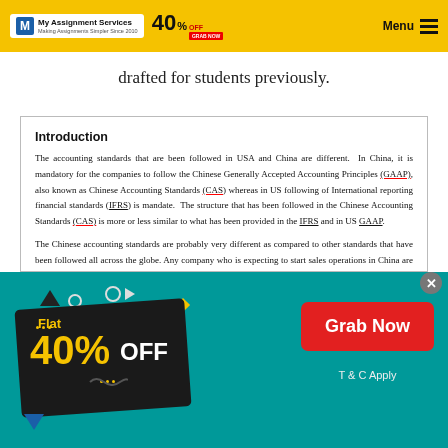My Assignment Services 40% OFF — Menu
drafted for students previously.
Introduction
The accounting standards that are been followed in USA and China are different. In China, it is mandatory for the companies to follow the Chinese Generally Accepted Accounting Principles (GAAP), also known as Chinese Accounting Standards (CAS) whereas in US following of International reporting financial standards (IFRS) is mandate. The structure that has been followed in the Chinese Accounting Standards (CAS) is more or less similar to what has been provided in the IFRS and in US GAAP.
The Chinese accounting standards are probably very different as compared to other standards that have been followed all across the globe. Any company who is expecting to start sales operations in China are likely to face some initial difficulties in terms of getting the accounting correct and bring them in line with the Chinese accounting standards.
[Figure (infographic): Advertisement banner: Flat 40% OFF, Grab Now button, T & C Apply]